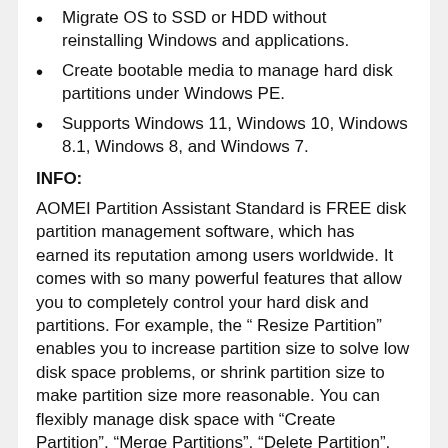Migrate OS to SSD or HDD without reinstalling Windows and applications.
Create bootable media to manage hard disk partitions under Windows PE.
Supports Windows 11, Windows 10, Windows 8.1, Windows 8, and Windows 7.
INFO:
AOMEI Partition Assistant Standard is FREE disk partition management software, which has earned its reputation among users worldwide. It comes with so many powerful features that allow you to completely control your hard disk and partitions. For example, the “ Resize Partition” enables you to increase partition size to solve low disk space problems, or shrink partition size to make partition size more reasonable. You can flexibly manage disk space with “Create Partition”, “Merge Partitions”, “Delete Partition”, “Format Partition”, “Copy Partition” and so on.
AOMEI Partition Assistant embeds sector-level data protection technology.